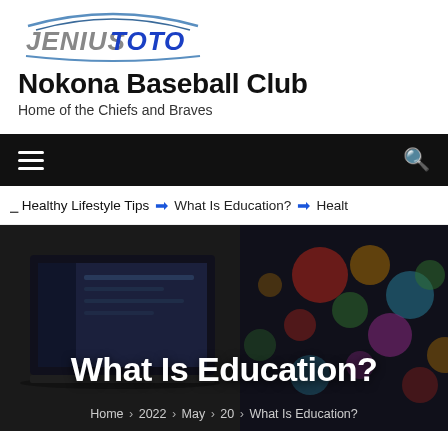[Figure (logo): Jenius Toto logo with stylized text in blue and grey]
Nokona Baseball Club
Home of the Chiefs and Braves
Navigation bar with hamburger menu and search icon
Healthy Lifestyle Tips  ➔  What Is Education?  ➔  Healt
[Figure (photo): Dark hero image showing a laptop on the left and colorful bokeh lights on the right, with the article title 'What Is Education?' overlaid in white bold text, and breadcrumb navigation 'Home > 2022 > May > 20 > What Is Education?' at the bottom]
What Is Education?
Home > 2022 > May > 20 > What Is Education?